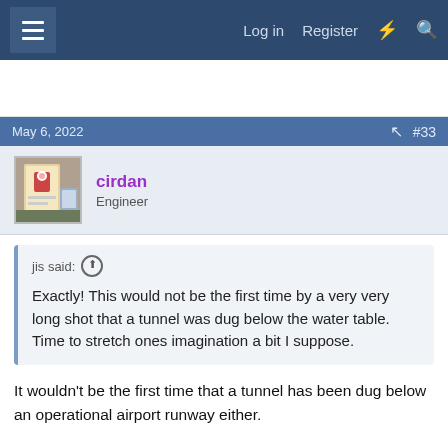Log in  Register
May 6, 2022   #33
cirdan
Engineer
jis said:
Exactly! This would not be the first time by a very very long shot that a tunnel was dug below the water table. Time to stretch ones imagination a bit I suppose.
It wouldn't be the first time that a tunnel has been dug below an operational airport runway either.
There's nothing that money can't buy. The bigger challenge is getting the money.